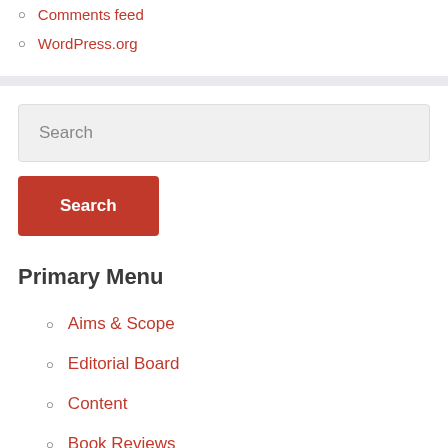Comments feed
WordPress.org
Search
Search
Primary Menu
Aims & Scope
Editorial Board
Content
Book Reviews
Supplement